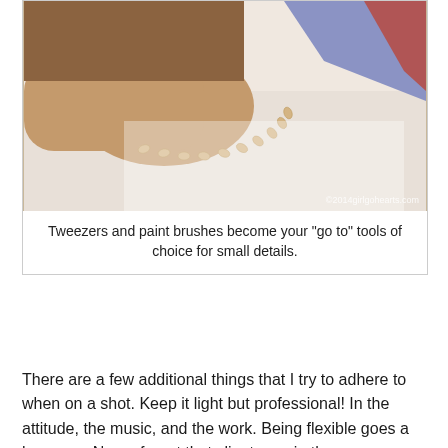[Figure (photo): Close-up photo of food styling work on a white surface, showing a hand placing small decorative elements with tweezers. Watermark reads ©2014girlgohearts.com]
Tweezers and paint brushes become your "go to" tools of choice for small details.
There are a few additional things that I try to adhere to when on a shot. Keep it light but professional! In the attitude, the music, and the work. Being flexible goes a long way. Never forget that clients are in the room, so don't start chatting about any personal problems around them. Remember the first client is the photographer, try and understand exactly what their vision is for each dish.  If the photographer says they see a small hair or imperfection, trust them, they want to give the client a perfect shot, not give you a hard time.
When it's time to clean up, I like to go by the Girl Scout rule "Leave the site cleaner then you found it." If I made a mess I clean it. I take all garbage out of the facility.  Essentially I